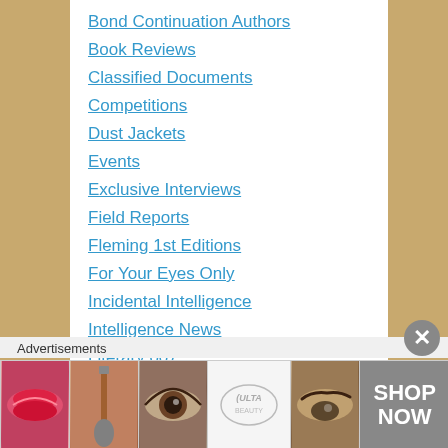Bond Continuation Authors
Book Reviews
Classified Documents
Competitions
Dust Jackets
Events
Exclusive Interviews
Field Reports
Fleming 1st Editions
For Your Eyes Only
Incidental Intelligence
Intelligence News
Literary 007
Advertisements
[Figure (photo): Advertisement banner showing beauty/cosmetics products with lips, makeup brush, eye, ULTA logo, eyebrows, and SHOP NOW call to action]